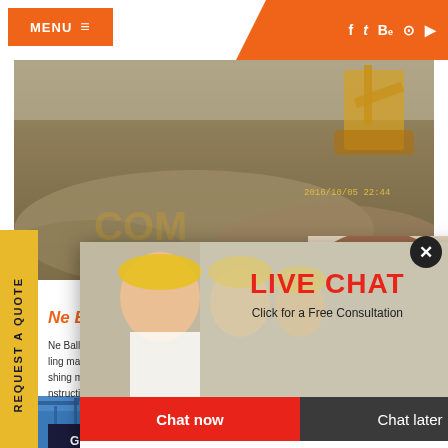MENU ≡
[Figure (screenshot): Website screenshot showing construction machinery company page with live chat popup overlay. Header has orange menu button and social icons. Background shows construction site with excavator and gravel. Left side has vertical yellow 'REQUEST A QUOTE' bar. A live chat popup says 'LIVE CHAT - Click for a Free Consultation' with Chat now / Chat later buttons. Product text mentions Ne Ball Mill, crushing machine, mobile crushing plant. Right sidebar shows requests, Quote, Enquiry, drobilkalm sections.]
LIVE CHAT
Click for a Free Consultation
Chat now
Chat later
Ne Ball Mill
Ne Ball Mill
ling mach
shing machine, mobile crushing plant , Li N
nstruction.Crush rock industries nigeria plo
REQUEST A QUOTE
GET QUOTE
Have any requests, click here.
Quota
Enquiry
drobilkalm